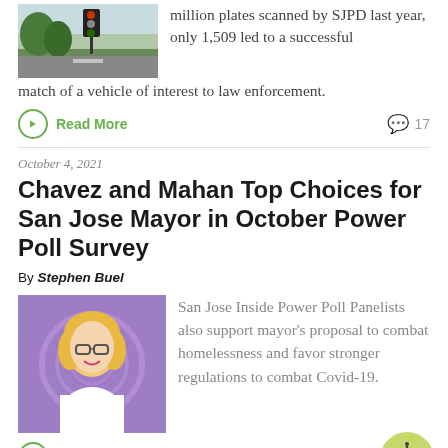[Figure (photo): Street scene with traffic lights and trees, San Jose]
million plates scanned by SJPD last year, only 1,509 led to a successful match of a vehicle of interest to law enforcement.
Read More
17
October 4, 2021
Chavez and Mahan Top Choices for San Jose Mayor in October Power Poll Survey
By Stephen Buel
[Figure (photo): Woman with blonde hair and glasses smiling, purple background with swirl pattern]
San Jose Inside Power Poll Panelists also support mayor’s proposal to combat homelessness and favor stronger regulations to combat Covid-19.
Read More
8
October 1, 2021